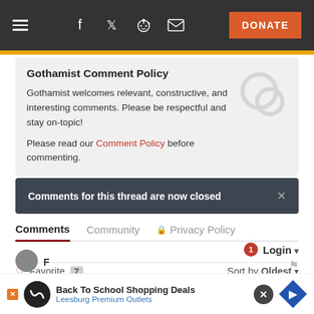Gothamist — Navigation bar with hamburger menu, social icons (Facebook, Twitter, Reddit, Mail), and DONATE button
Gothamist Comment Policy
Gothamist welcomes relevant, constructive, and interesting comments. Please be respectful and stay on-topic!
Please read our Comment Policy before commenting.
Comments for this thread are now closed
Comments   Community   Privacy Policy
Login ▾
♡ Favorite 7   Sort by Oldest ▾
[Figure (screenshot): Back To School Shopping Deals — Leesburg Premium Outlets advertisement banner with logo and map pin icon]